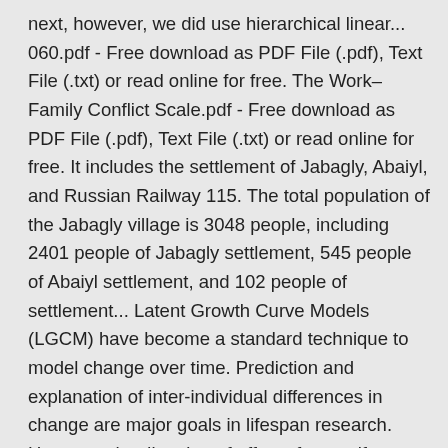next, however, we did use hierarchical linear... 060.pdf - Free download as PDF File (.pdf), Text File (.txt) or read online for free. The Work–Family Conflict Scale.pdf - Free download as PDF File (.pdf), Text File (.txt) or read online for free. It includes the settlement of Jabagly, Abaiyl, and Russian Railway 115. The total population of the Jabagly village is 3048 people, including 2401 people of Jabagly settlement, 545 people of Abaiyl settlement, and 102 people of settlement... Latent Growth Curve Models (LGCM) have become a standard technique to model change over time. Prediction and explanation of inter-individual differences in change are major goals in lifespan research. However, the direction of effects from self-esteem to life satisfaction has been supported statistically by structural equation modeling or other analyses of mediation effects (see, e.g., Acun-Kapikiran et al.